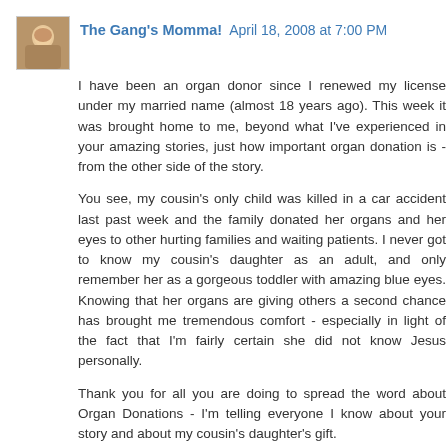The Gang's Momma! April 18, 2008 at 7:00 PM
I have been an organ donor since I renewed my license under my married name (almost 18 years ago). This week it was brought home to me, beyond what I've experienced in your amazing stories, just how important organ donation is - from the other side of the story.
You see, my cousin's only child was killed in a car accident last past week and the family donated her organs and her eyes to other hurting families and waiting patients. I never got to know my cousin's daughter as an adult, and only remember her as a gorgeous toddler with amazing blue eyes. Knowing that her organs are giving others a second chance has brought me tremendous comfort - especially in light of the fact that I'm fairly certain she did not know Jesus personally.
Thank you for all you are doing to spread the word about Organ Donations - I'm telling everyone I know about your story and about my cousin's daughter's gift.